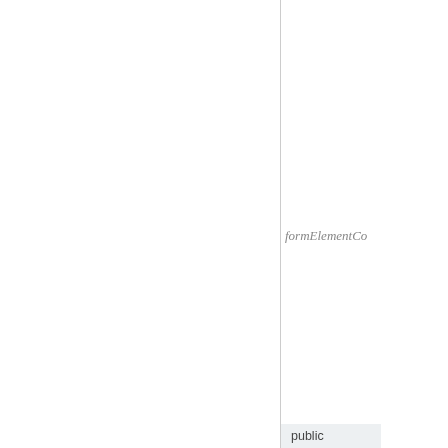formElementCo...
Returns
Single emitting the newly created form field.
public